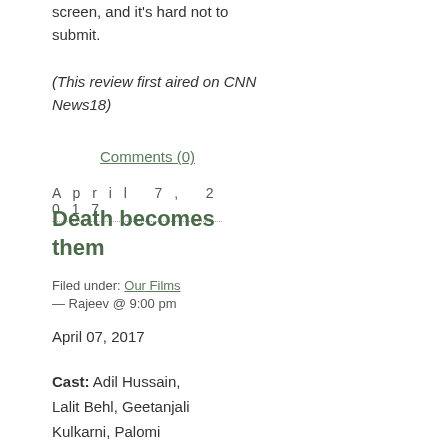screen, and it's hard not to submit.
(This review first aired on CNN News18)
Comments (0)
April 7, 2017
Death becomes them
Filed under: Our Films — Rajeev @ 9:00 pm
April 07, 2017
Cast: Adil Hussain, Lalit Behl, Geetanjali Kulkarni, Palomi Ghosh, Navnindra Behl